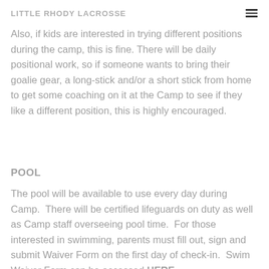LITTLE RHODY LACROSSE
Also, if kids are interested in trying different positions during the camp, this is fine. There will be daily positional work, so if someone wants to bring their goalie gear, a long-stick and/or a short stick from home to get some coaching on it at the Camp to see if they like a different position, this is highly encouraged.
POOL
The pool will be available to use every day during Camp.  There will be certified lifeguards on duty as well as Camp staff overseeing pool time.  For those interested in swimming, parents must fill out, sign and submit Waiver Form on the first day of check-in.  Swim Waiver Form can be accessed HERE